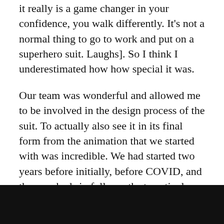it really is a game changer in your confidence, you walk differently. It's not a normal thing to go to work and put on a superhero suit. Laughs]. So I think I underestimated how how special it was.
Our team was wonderful and allowed me to be involved in the design process of the suit. To actually also see it in its final form from the animation that we started with was incredible. We had started two years before initially, before COVID, and then we had six full months to actively develop it with the studio here in LA. We worked with Ironhead who also did the Wonder Woman costume and Batman and I was geeking out non stop pretty much of how cool the process was to make a suit.